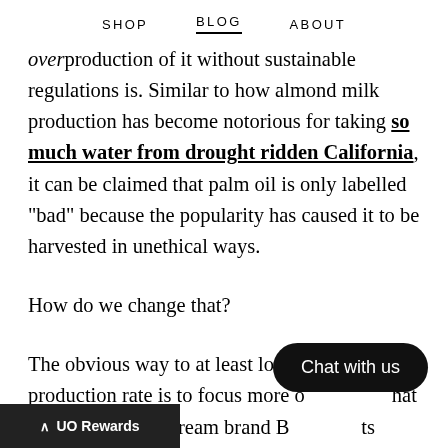SHOP   BLOG   ABOUT
overproduction of it without sustainable regulations is. Similar to how almond milk production has become notorious for taking so much water from drought ridden California, it can be claimed that palm oil is only labelled "bad" because the popularity has caused it to be harvested in unethical ways.
How do we change that?
The obvious way to at least lower the palm oil production rate is to focus more on products that don't have it. Ice cream brand Bō... its vegan ice creams, but desserts with